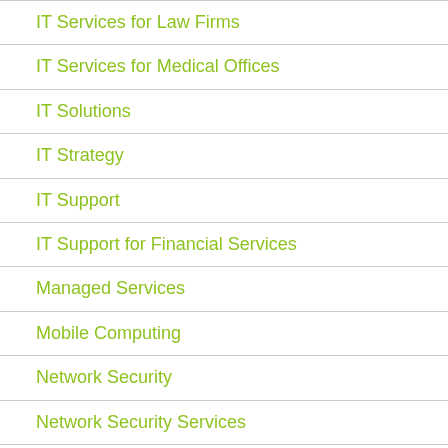IT Services for Law Firms
IT Services for Medical Offices
IT Solutions
IT Strategy
IT Support
IT Support for Financial Services
Managed Services
Mobile Computing
Network Security
Network Security Services
News Blog
Uncategorized